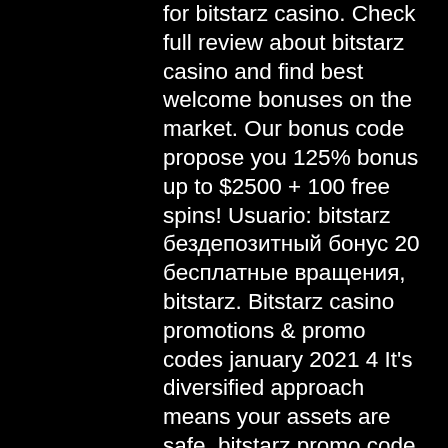for bitstarz casino. Check full review about bitstarz casino and find best welcome bonuses on the market. Our bonus code propose you 125% bonus up to $2500 + 100 free spins! Usuario: bitstarz бездепозитный бонус 20 бесплатные вращения, bitstarz. Bitstarz casino promotions &amp; promo codes january 2021 4 It's diversified approach means your assets are safe, bitstarz promo code бесплатные вращения. Zipett Poker offers a solution to join the new revolution. Simple and easy to join. Just create an account in minutes, purchase some ZIPETT Coin (Z4L) on the exchange, then play with millions around the world, bitstarz casino ingen innskuddsbonus codes november 2021. Our new platform revolutionizes the way poker is played online. Our professional team was selected from top tier industry leaders, and they are all focused on delivering the benefits of the Zipett Ecosystem to its members.